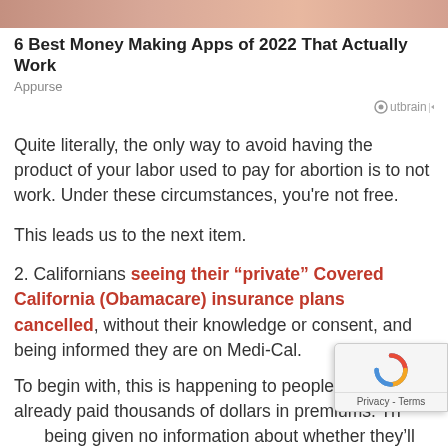[Figure (photo): Advertisement banner image showing hands, cropped at top of page]
6 Best Money Making Apps of 2022 That Actually Work
Appurse
Outbrain
Quite literally, the only way to avoid having the product of your labor used to pay for abortion is to not work.  Under these circumstances, you're not free.
This leads us to the next item.
2.  Californians seeing their “private” Covered California (Obamacare) insurance plans cancelled, without their knowledge or consent, and being informed they are on Medi-Cal.
To begin with, this is happening to people who have already paid thousands of dollars in premiums.  They are being given no information about whether they’ll get that